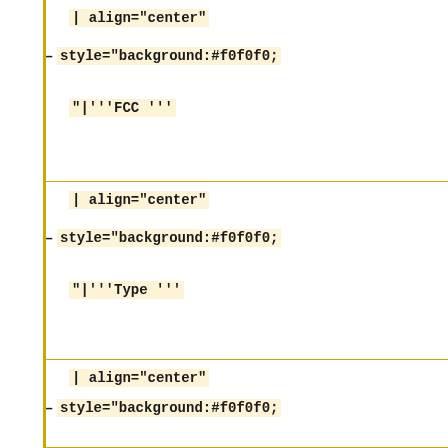| align="center"
-style="background:#f0f0f0;
"|'''FCC '''
| align="center"
-style="background:#f0f0f0;
"|'''Type '''
| align="center"
-style="background:#f0f0f0;
"|'''Tone '''
| align="center"
-style="background:#f0f0f0;
"|'''Description '''
| align="center"
-style="background:#f0f0f0;
"|'''Mode '''
-|-
|451.8875||    456.8875||